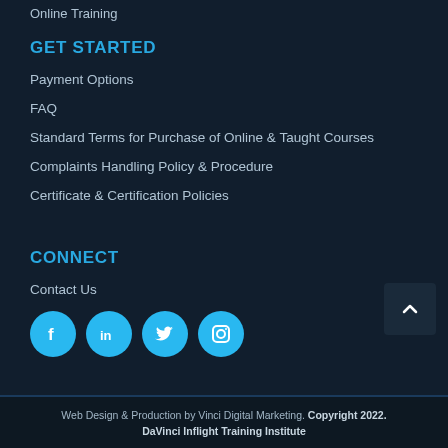Online Training
GET STARTED
Payment Options
FAQ
Standard Terms for Purchase of Online & Taught Courses
Complaints Handling Policy & Procedure
Certificate & Certification Policies
CONNECT
Contact Us
[Figure (other): Social media icons: Facebook, LinkedIn, Twitter, Instagram — circular blue buttons]
[Figure (other): Scroll to top arrow button]
Web Design & Production by Vinci Digital Marketing. Copyright 2022. DaVinci Inflight Training Institute